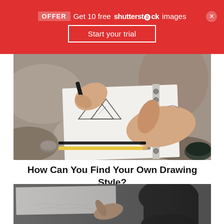[Figure (screenshot): Red promotional banner: 'OFFER Get 10 free shutterstock images' with a 'Start your trial' button and a close (×) button]
[Figure (photo): Overhead photo of hands drawing in a sketchbook with pencil and pen on a marble surface, with art supplies visible]
How Can You Find Your Own Drawing Style?
[Figure (photo): Black and white photo of a person with dark hair drawing or sketching on a large canvas or paper]